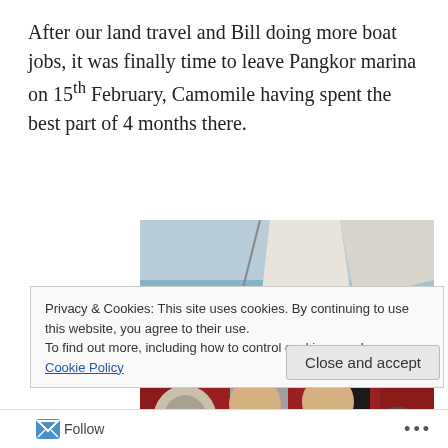After our land travel and Bill doing more boat jobs, it was finally time to leave Pangkor marina on 15th February, Camomile having spent the best part of 4 months there.
[Figure (photo): Family photo on a sailboat: two adults (man in cap, woman with sunglasses) and two young blonde children sitting in the cockpit of a sailing vessel with red cushions and blue water visible in background.]
Privacy & Cookies: This site uses cookies. By continuing to use this website, you agree to their use.
To find out more, including how to control cookies, see here: Cookie Policy
Close and accept
Follow